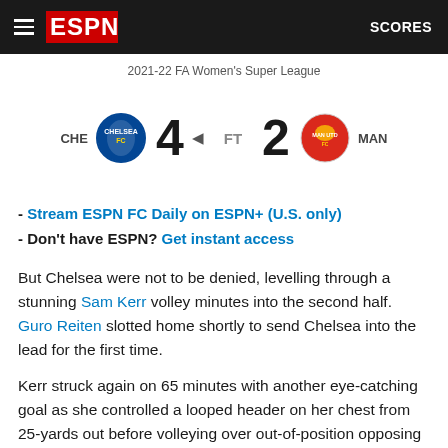ESPN — SCORES
2021-22 FA Women's Super League
[Figure (infographic): Match scoreline: CHE (Chelsea badge) 4 FT 2 MAN (Manchester United badge). Chelsea 4 - Manchester United 2, Full Time.]
- Stream ESPN FC Daily on ESPN+ (U.S. only)
- Don't have ESPN? Get instant access
But Chelsea were not to be denied, levelling through a stunning Sam Kerr volley minutes into the second half. Guro Reiten slotted home shortly to send Chelsea into the lead for the first time.
Kerr struck again on 65 minutes with another eye-catching goal as she controlled a looped header on her chest from 25-yards out before volleying over out-of-position opposing goalkeeper Mary Earps.